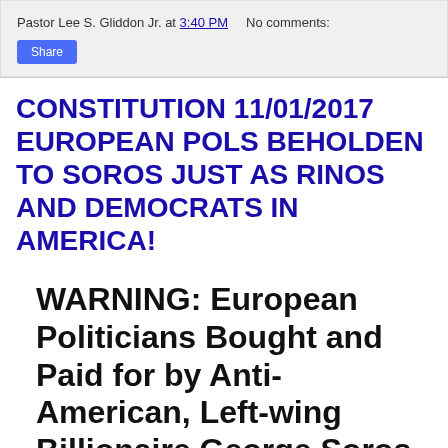Pastor Lee S. Gliddon Jr. at 3:40 PM   No comments:
Share
CONSTITUTION 11/01/2017 EUROPEAN POLS BEHOLDEN TO SOROS JUST AS RINOS AND DEMOCRATS IN AMERICA!
WARNING: European Politicians Bought and Paid for by Anti-American, Left-wing Billionaire George Soros